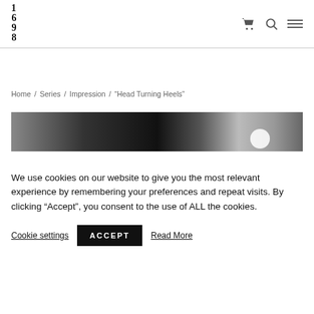1698 logo with cart, search, and menu icons
Home / Series / Impression / “Head Turning Heels”
[Figure (photo): Black and white close-up photo strip, partially visible, with a white circle element on the right side]
We use cookies on our website to give you the most relevant experience by remembering your preferences and repeat visits. By clicking “Accept”, you consent to the use of ALL the cookies.
Cookie settings   ACCEPT   Read More